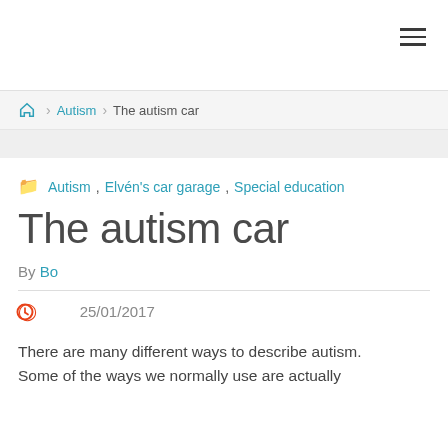Navigation header with hamburger menu
Home > Autism > The autism car
Autism, Elvén's car garage, Special education
The autism car
By Bo
25/01/2017
There are many different ways to describe autism. Some of the ways we normally use are actually